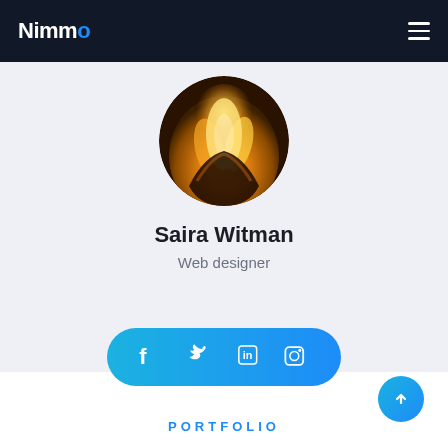Nimmo
[Figure (photo): Circular profile photo showing glowing golden fire/hands]
Saira Witman
Web designer
[Figure (infographic): Rounded pill-shaped social media button bar with Facebook, Twitter, LinkedIn, and Instagram icons on gradient blue background]
PORTFOLIO